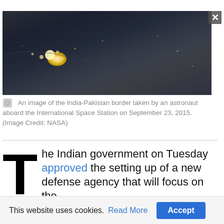[Figure (photo): An aerial/satellite image of the India-Pakistan border taken from the International Space Station, showing city lights and terrain from space at night.]
An image of the India-Pakistan border taken by an astronaut aboard the International Space Station on September 23, 2015. (Image Credit: NASA)
The Indian government on Tuesday approved the setting up of a new defense agency that will focus on the
This website uses cookies. Read More Accept